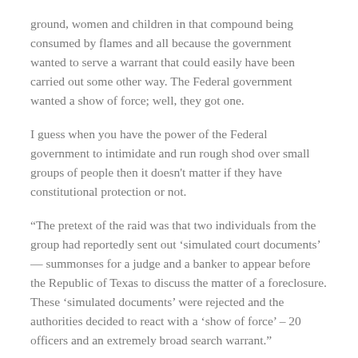ground, women and children in that compound being consumed by flames and all because the government wanted to serve a warrant that could easily have been carried out some other way. The Federal government wanted a show of force; well, they got one.
I guess when you have the power of the Federal government to intimidate and run rough shod over small groups of people then it doesn't matter if they have constitutional protection or not.
“The pretext of the raid was that two individuals from the group had reportedly sent out ‘simulated court documents’ — summonses for a judge and a banker to appear before the Republic of Texas to discuss the matter of a foreclosure. These ‘simulated documents’ were rejected and the authorities decided to react with a ‘show of force’ – 20 officers and an extremely broad search warrant.”
So twenty law enforcement officers were needed to…were needed to what? I’m still trying to figure out why twenty law